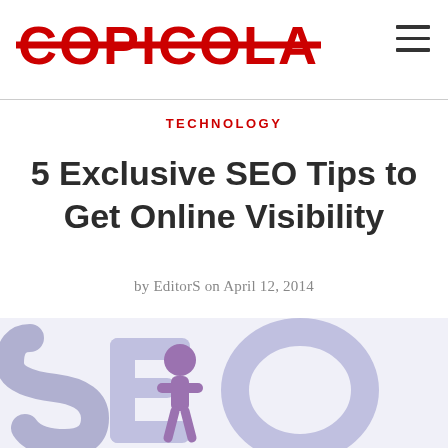COPICOLA
TECHNOLOGY
5 Exclusive SEO Tips to Get Online Visibility
by EditorS on April 12, 2014
[Figure (photo): 3D rendered letters spelling SEO in light purple/lavender color with a stylized purple figure standing on the letters, against a white background]